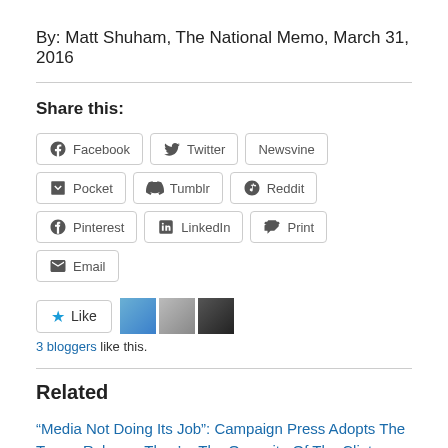By: Matt Shuham, The National Memo, March 31, 2016
Share this:
Share buttons: Facebook, Twitter, Newsvine, Pocket, Tumblr, Reddit, Pinterest, LinkedIn, Print, Email
Like  3 bloggers like this.
Related
“Media Not Doing Its Job”: Campaign Press Adopts The Trump Rules — They’re The Opposite Of The Clinton Rules
March 2, 2016